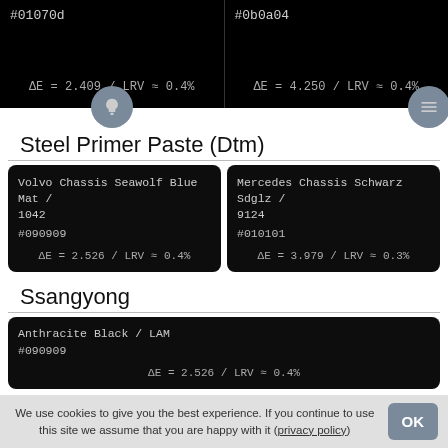#01070d  ΔE = 2.409 / LRV ≈ 0.4%
#0b0a04  ΔE = 4.250 / LRV ≈ 0.4%
Steel Primer Paste (Dtm)
| Volvo Chassis Seawolf Blue Mat / 1042
#090909
ΔE = 2.526 / LRV ≈ 0.4% | Mercedes Chassis Schwarz Sdglz / 9124
#010101
ΔE = 3.979 / LRV ≈ 0.3% |
Ssangyong
| Anthracite Black / LAM
#090909
ΔE = 2.526 / LRV ≈ 0.4% |
Mitsubishi
| Dark Grey Matt / QK
#060708
ΔE = 2.550 / LRV ≈ 0.4% | Black Matt / XL
#080808
ΔE = 2.653 / LRV ≈ 0.4% |
We use cookies to give you the best experience. If you continue to use this site we assume that you are happy with it (privacy policy)